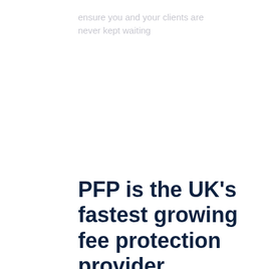ensure you and your clients are never kept waiting
PFP is the UK's fastest growing fee protection provider